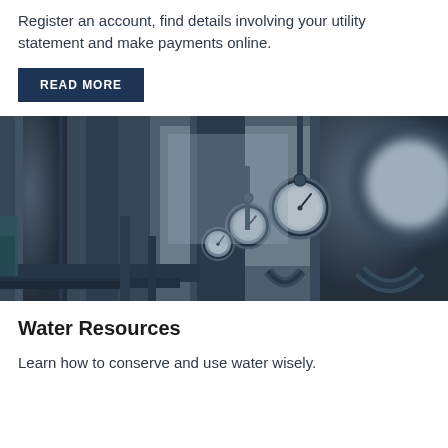Register an account, find details involving your utility statement and make payments online.
READ MORE
[Figure (photo): Industrial water pipes and pressure gauges in a facility, shown in monochrome blue-grey tones. Multiple circular pressure gauges are visible on large dark pipes.]
Water Resources
Learn how to conserve and use water wisely.